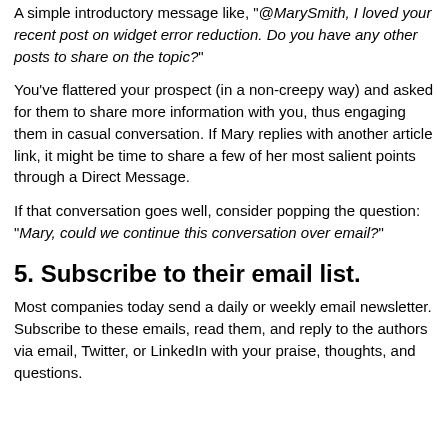A simple introductory message like, "@MarySmith, I loved your recent post on widget error reduction. Do you have any other posts to share on the topic?"
You've flattered your prospect (in a non-creepy way) and asked for them to share more information with you, thus engaging them in casual conversation. If Mary replies with another article link, it might be time to share a few of her most salient points through a Direct Message.
If that conversation goes well, consider popping the question: "Mary, could we continue this conversation over email?"
5. Subscribe to their email list.
Most companies today send a daily or weekly email newsletter. Subscribe to these emails, read them, and reply to the authors via email, Twitter, or LinkedIn with your praise, thoughts, and questions.